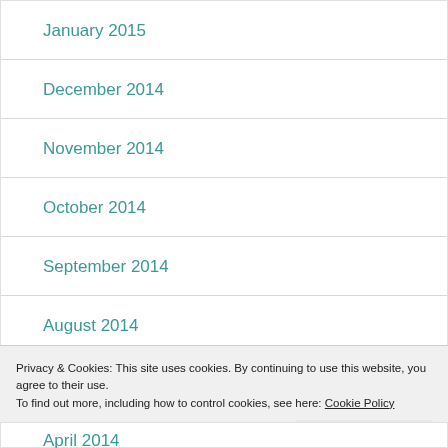January 2015
December 2014
November 2014
October 2014
September 2014
August 2014
July 2014
Privacy & Cookies: This site uses cookies. By continuing to use this website, you agree to their use.
To find out more, including how to control cookies, see here: Cookie Policy
April 2014